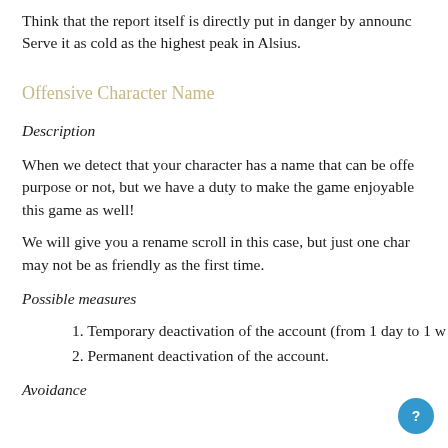Think that the report itself is directly put in danger by announc... Serve it as cold as the highest peak in Alsius.
Offensive Character Name
Description
When we detect that your character has a name that can be offe... purpose or not, but we have a duty to make the game enjoyable... this game as well!
We will give you a rename scroll in this case, but just one char... may not be as friendly as the first time.
Possible measures
1. Temporary deactivation of the account (from 1 day to 1 w...
2. Permanent deactivation of the account.
Avoidance